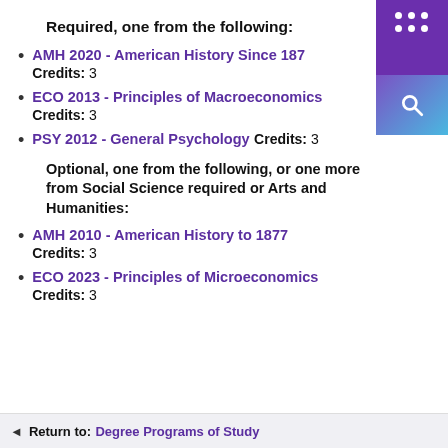Required, one from the following:
AMH 2020 - American History Since 1877
Credits: 3
ECO 2013 - Principles of Macroeconomics
Credits: 3
PSY 2012 - General Psychology Credits: 3
Optional, one from the following, or one more from Social Science required or Arts and Humanities:
AMH 2010 - American History to 1877
Credits: 3
ECO 2023 - Principles of Microeconomics
Credits: 3
Return to: Degree Programs of Study